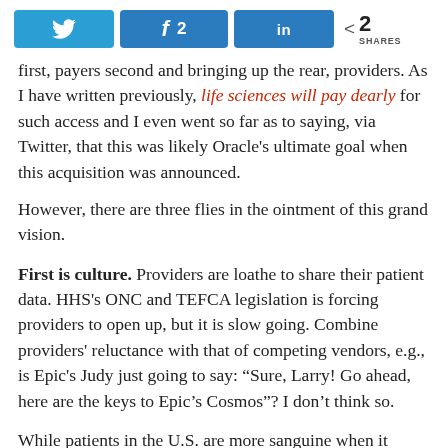[Figure (infographic): Social sharing bar with Twitter, Facebook (2 shares), LinkedIn buttons, and share count of 2]
first, payers second and bringing up the rear, providers. As I have written previously, life sciences will pay dearly for such access and I even went so far as to saying, via Twitter, that this was likely Oracle's ultimate goal when this acquisition was announced.
However, there are three flies in the ointment of this grand vision.
First is culture. Providers are loathe to share their patient data. HHS's ONC and TEFCA legislation is forcing providers to open up, but it is slow going. Combine providers' reluctance with that of competing vendors, e.g., is Epic's Judy just going to say: “Sure, Larry! Go ahead, here are the keys to Epic’s Cosmos”? I don’t think so.
While patients in the U.S. are more sanguine when it